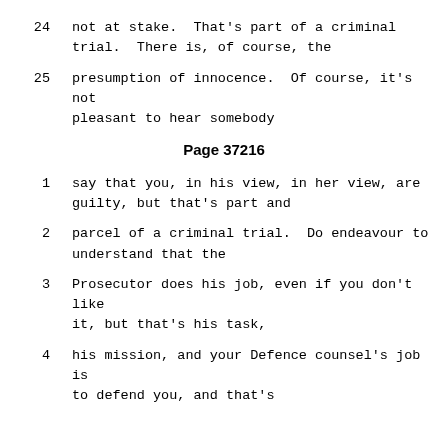24    not at stake.  That's part of a criminal trial.  There is, of course, the
25    presumption of innocence.  Of course, it's not pleasant to hear somebody
Page 37216
1    say that you, in his view, in her view, are guilty, but that's part and
2    parcel of a criminal trial.  Do endeavour to understand that the
3    Prosecutor does his job, even if you don't like it, but that's his task,
4    his mission, and your Defence counsel's job is to defend you, and that's